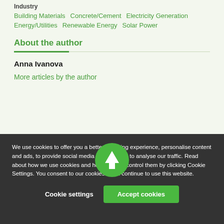Building Materials  Concrete/Cement  Electricity Generation  Energy/Utilities  Renewable Energy  Solar Power
About the author
Anna Ivanova
More articles by the author
[Figure (illustration): Green circular button with upward arrow icon for scrolling to top of page]
About
We use cookies to offer you a better browsing experience, personalise content and ads, to provide social media features and to analyse our traffic. Read about how we use cookies and how you can control them by clicking Cookie Settings. You consent to our cookies if you continue to use this website.
Cookie settings  Accept cookies